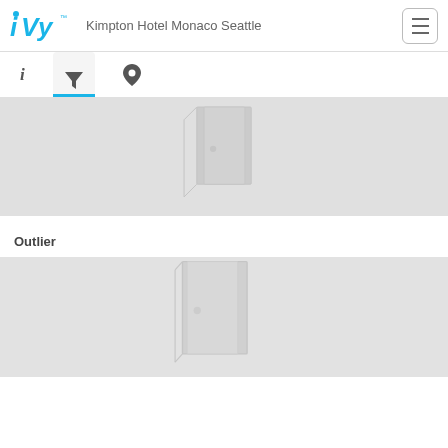iVvy — Kimpton Hotel Monaco Seattle
[Figure (screenshot): Tab navigation bar with info (i), filter (funnel icon, active/selected with blue underline), and location pin icons]
[Figure (photo): Gray placeholder image showing a partially open door icon, representing a venue room thumbnail]
Outlier
[Figure (photo): Gray placeholder image showing a fully open door icon, representing the Outlier venue room thumbnail]